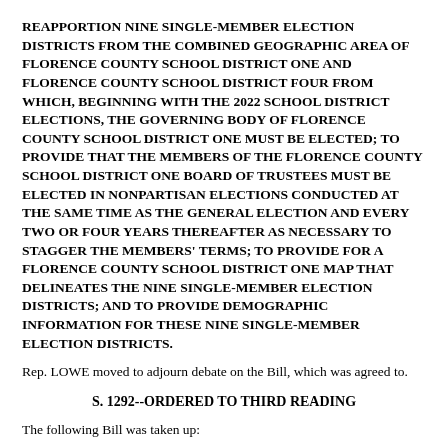REAPPORTION NINE SINGLE-MEMBER ELECTION DISTRICTS FROM THE COMBINED GEOGRAPHIC AREA OF FLORENCE COUNTY SCHOOL DISTRICT ONE AND FLORENCE COUNTY SCHOOL DISTRICT FOUR FROM WHICH, BEGINNING WITH THE 2022 SCHOOL DISTRICT ELECTIONS, THE GOVERNING BODY OF FLORENCE COUNTY SCHOOL DISTRICT ONE MUST BE ELECTED; TO PROVIDE THAT THE MEMBERS OF THE FLORENCE COUNTY SCHOOL DISTRICT ONE BOARD OF TRUSTEES MUST BE ELECTED IN NONPARTISAN ELECTIONS CONDUCTED AT THE SAME TIME AS THE GENERAL ELECTION AND EVERY TWO OR FOUR YEARS THEREAFTER AS NECESSARY TO STAGGER THE MEMBERS' TERMS; TO PROVIDE FOR A FLORENCE COUNTY SCHOOL DISTRICT ONE MAP THAT DELINEATES THE NINE SINGLE-MEMBER ELECTION DISTRICTS; AND TO PROVIDE DEMOGRAPHIC INFORMATION FOR THESE NINE SINGLE-MEMBER ELECTION DISTRICTS.
Rep. LOWE moved to adjourn debate on the Bill, which was agreed to.
S. 1292--ORDERED TO THIRD READING
The following Bill was taken up: